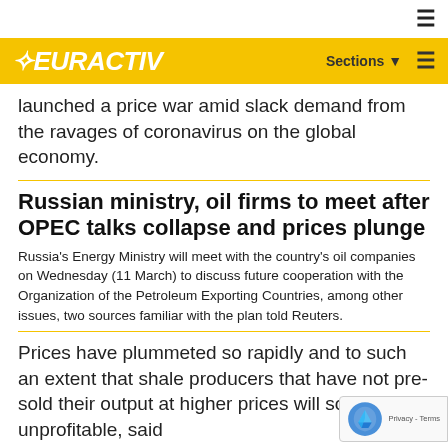≡
EURACTIV  Sections ▾  ≡
launched a price war amid slack demand from the ravages of coronavirus on the global economy.
Russian ministry, oil firms to meet after OPEC talks collapse and prices plunge
Russia's Energy Ministry will meet with the country's oil companies on Wednesday (11 March) to discuss future cooperation with the Organization of the Petroleum Exporting Countries, among other issues, two sources familiar with the plan told Reuters.
Prices have plummeted so rapidly and to such an extent that shale producers that have not pre-sold their output at higher prices will soon be unprofitable, said